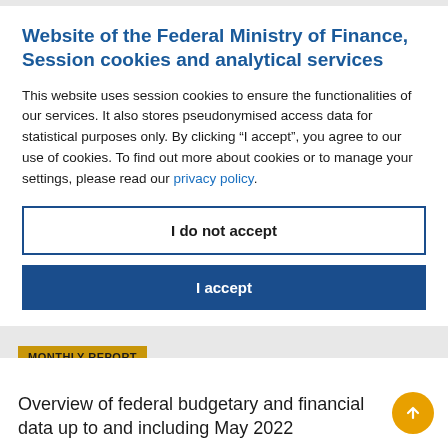Website of the Federal Ministry of Finance, Session cookies and analytical services
This website uses session cookies to ensure the functionalities of our services. It also stores pseudonymised access data for statistical purposes only. By clicking “I accept”, you agree to our use of cookies. To find out more about cookies or to manage your settings, please read our privacy policy.
I do not accept
I accept
MONTHLY REPORT
Overview of federal budgetary and financial data up to and including May 2022